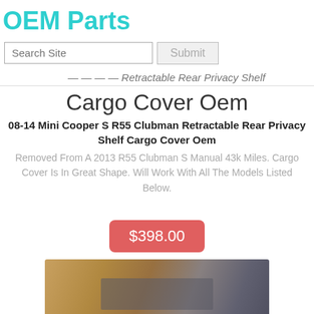OEM Parts
Search Site | Submit
...Retractable Rear Privacy Shelf Cargo Cover Oem (breadcrumb, partially cropped)
Cargo Cover Oem
08-14 Mini Cooper S R55 Clubman Retractable Rear Privacy Shelf Cargo Cover Oem
Removed From A 2013 R55 Clubman S Manual 43k Miles. Cargo Cover Is In Great Shape. Will Work With All The Models Listed Below.
$398.00
[Figure (photo): Photo of cargo cover product on a wooden surface]